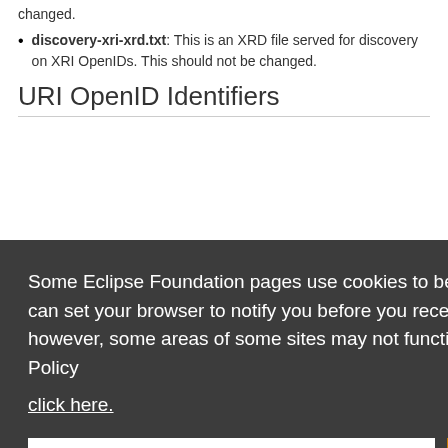changed.
discovery-xri-xrd.txt: This is an XRD file served for discovery on XRI OpenIDs. This should not be changed.
URI OpenID Identifiers
Some Eclipse Foundation pages use cookies to better serve you when you return to the site. You can set your browser to notify you before you receive a cookie or turn off cookies. If you do so, however, some areas of some sites may not function properly. To read Eclipse Foundation Privacy Policy click here.
(parent-xri) * (Higgins account name)